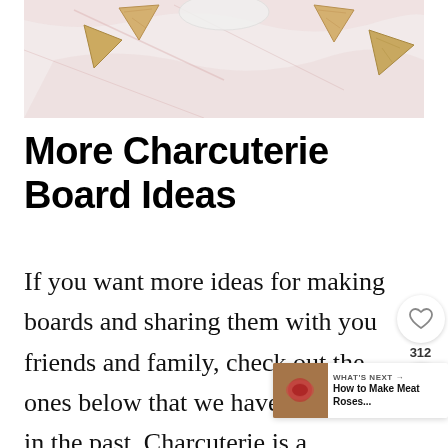[Figure (photo): Top-down photo of crackers arranged on a marble surface around a bowl or plate, showing triangular crackers on a pink-veined white marble background]
More Charcuterie Board Ideas
If you want more ideas for making boards and sharing them with you friends and family, check out the ones below that we have us made in the past. Charcuterie is a